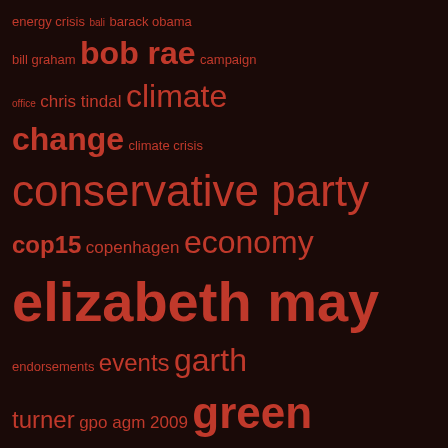[Figure (infographic): Tag cloud on dark brown background with various political and policy-related tags in different sizes, all in red/orange color. Larger tags indicate higher frequency: elizabeth may, green party, stephen harper, bob rae, conservative party, climate change, mmp, policy conference, etc.]